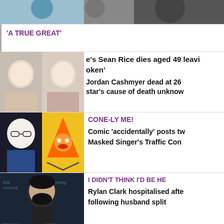[Figure (photo): Two women posing, partial top of page]
'A TRUE GREAT'
[Figure (photo): Two blonde women side by side]
e's Sean Rice dies aged 49 leavi
oken'
Jordan Cashmyer dead at 26 star's cause of death unknow
[Figure (photo): Man with glasses and animated traffic cone character]
CONE-LY ME!
Comic 'accidentally' posts tw Masked Singer's Traffic Con
[Figure (photo): Rylan Clark on This Morning set]
I DIDN'T THINK I'D BE HE
Rylan Clark hospitalised afte following husband split